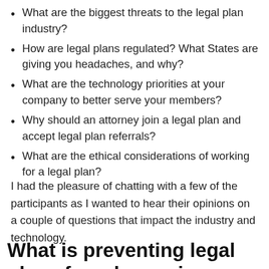What are the biggest threats to the legal plan industry?
How are legal plans regulated? What States are giving you headaches, and why?
What are the technology priorities at your company to better serve your members?
Why should an attorney join a legal plan and accept legal plan referrals?
What are the ethical considerations of working for a legal plan?
I had the pleasure of chatting with a few of the participants as I wanted to hear their opinions on a couple of questions that impact the industry and technology.
What is preventing legal plans from becoming as mainstream as other